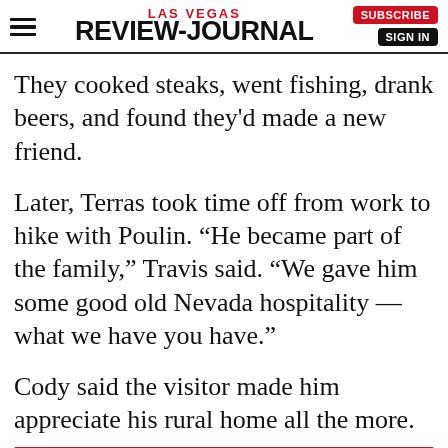Las Vegas Review-Journal
They cooked steaks, went fishing, drank beers, and found they'd made a new friend.
Later, Terras took time off from work to hike with Poulin. “He became part of the family,” Travis said. “We gave him some good old Nevada hospitality — what we have you have.”
Cody said the visitor made him appreciate his rural home all the more.
[Figure (infographic): Red advertisement banner reading LISTEN NOW in large white bold text]